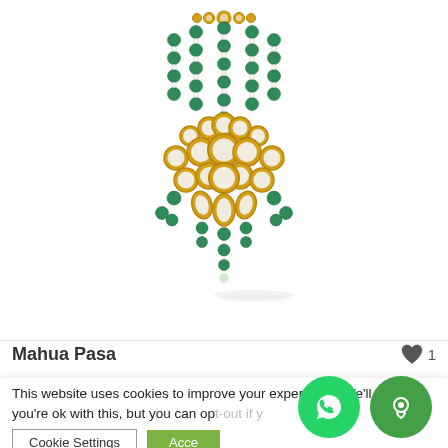[Figure (photo): Traditional Indian Kundan jewelry piece called Mahua Pasa - a chandelier-style ornament with green jade/emerald beads arranged in cascading strands at the top, a central kundan (gold and white stone) ornate piece with circular and teardrop-shaped settings, and additional green beads dangling at the bottom. The piece has a gold metal framework.]
Mahua Pasa
1
This website uses cookies to improve your experience. We'll assume you're ok with this, but you can opt-out if you wish.
Cookie Settings
Accept